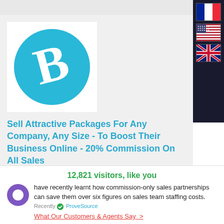[Figure (logo): Company logo: teal circle with a stylized white letter B]
Sell Attractive Packages For Any Company, Any Size - To Boost Their Business Online - 20% Commission On All Sales
Freelance
Experts in marketing businesses online, boosting their profiles on google searches and social media.We build
12,821 visitors, like you
have recently learnt how commission-only sales partnerships can save them over six figures on sales team staffing costs.
Recently ProveSource
What Our Customers & Agents Say >